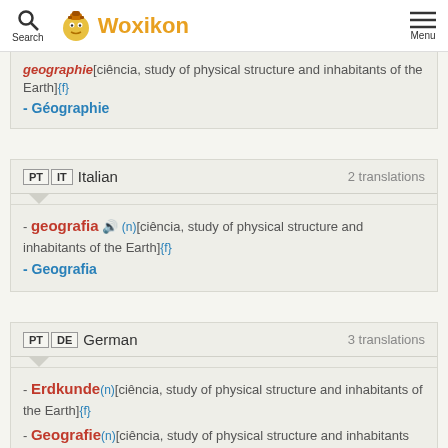Search | Woxikon | Menu
geographie[ciência, study of physical structure and inhabitants of the Earth]{f} - Géographie
PT IT Italian  2 translations
- geografia (n)[ciência, study of physical structure and inhabitants of the Earth]{f} - Geografia
PT DE German  3 translations
- Erdkunde(n)[ciência, study of physical structure and inhabitants of the Earth]{f} - Geografie(n)[ciência, study of physical structure and inhabitants